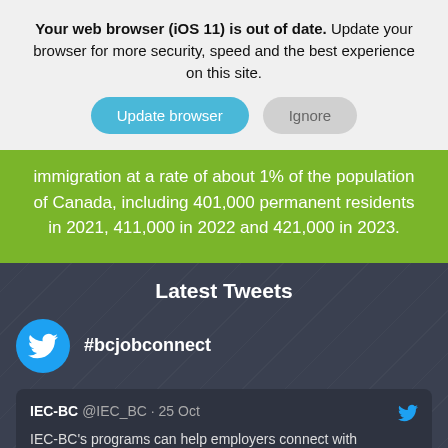Your web browser (iOS 11) is out of date. Update your browser for more security, speed and the best experience on this site.
Update browser | Ignore
immigration at a rate of about 1% of the population of Canada, including 401,000 permanent residents in 2021, 411,000 in 2022 and 421,000 in 2023.
Latest Tweets
#bcjobconnect
IEC-BC @IEC_BC · 25 Oct
IEC-BC's programs can help employers connect with immigrant talent. BC's labour market continues its recovery...